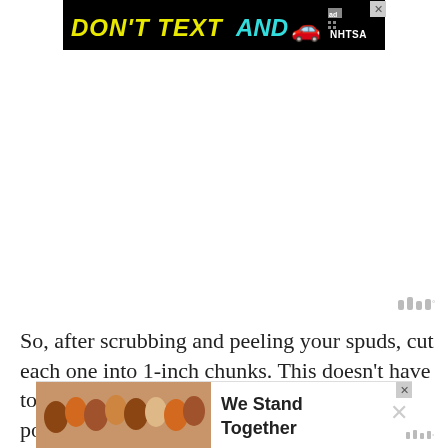[Figure (other): NHTSA 'DON'T TEXT AND [car emoji]' advertisement banner in black with yellow and cyan text]
[Figure (other): Weather widget icon (small gray bars) in upper right area]
So, after scrubbing and peeling your spuds, cut each one into 1-inch chunks. This doesn’t have to be super-precise, but you want all of the potato ch...
[Figure (other): Bottom advertisement banner with group photo of people hugging and text 'We Stand Together']